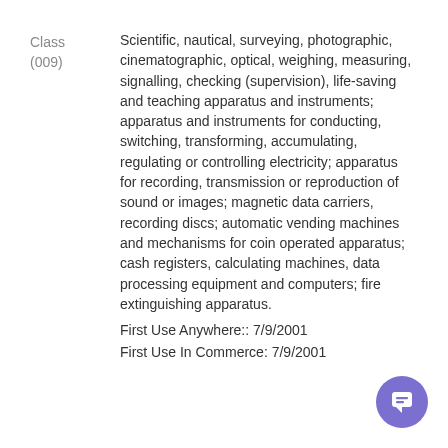Class
(009)

Scientific, nautical, surveying, photographic, cinematographic, optical, weighing, measuring, signalling, checking (supervision), life-saving and teaching apparatus and instruments; apparatus and instruments for conducting, switching, transforming, accumulating, regulating or controlling electricity; apparatus for recording, transmission or reproduction of sound or images; magnetic data carriers, recording discs; automatic vending machines and mechanisms for coin operated apparatus; cash registers, calculating machines, data processing equipment and computers; fire extinguishing apparatus.
First Use Anywhere:: 7/9/2001
First Use In Commerce: 7/9/2001